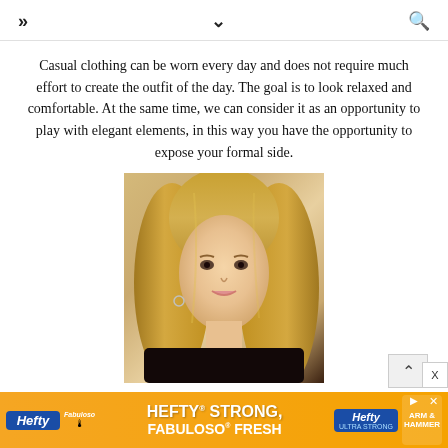>> v [search icon]
Casual clothing can be worn every day and does not require much effort to create the outfit of the day. The goal is to look relaxed and comfortable. At the same time, we can consider it as an opportunity to play with elegant elements, in this way you have the opportunity to expose your formal side.
[Figure (photo): Portrait photo of a young blonde woman wearing a black lace top]
[Figure (infographic): Advertisement banner: Hefty Strong, Fabuloso Fresh on orange background]